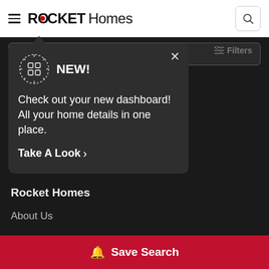ROCKET Homes
[Figure (screenshot): Rocket Homes website screenshot showing a popup notification about a new dashboard feature, with 'NEW!' heading, dashboard icon, description text 'Check out your new dashboard! All your home details in one place.', and 'Take A Look >' link. Background shows faded page content including ROCKET Solar section, Rocket Homes footer links, and a red Save Search button at bottom.]
NEW!
Check out your new dashboard! All your home details in one place.
Take A Look >
We make solar possible. It's never been easier and more affordable for homeowners to make the switch to solar
Rocket Homes
About Us
Save Search